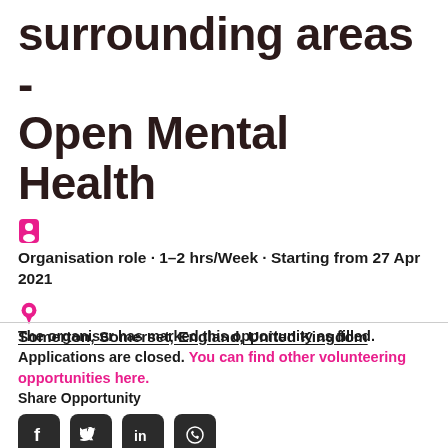surrounding areas - Open Mental Health
Organisation role · 1–2 hrs/Week · Starting from 27 Apr 2021
Somerton, Somerset, England, United Kingdom
The organiser has marked this opportunity as filled. Applications are closed. You can find other volunteering opportunities here.
Share Opportunity